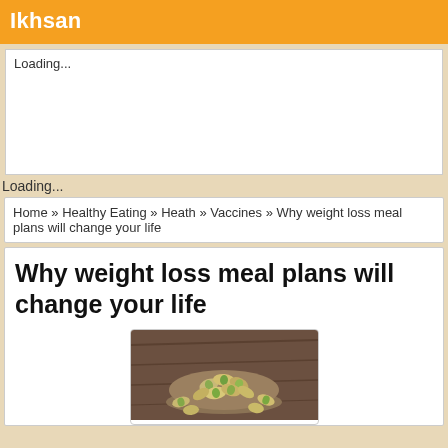Ikhsan
Loading...
Loading...
Home » Healthy Eating » Heath » Vaccines » Why weight loss meal plans will change your life
Why weight loss meal plans will change your life
[Figure (photo): A bowl of pistachios photographed on a wooden surface]